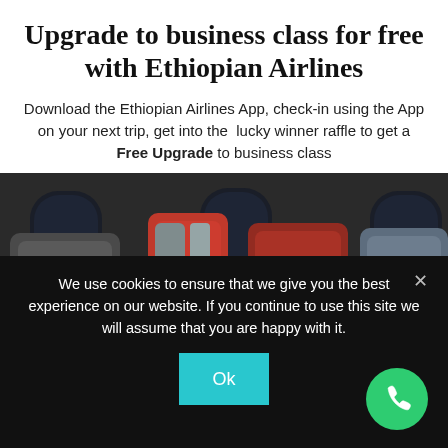Upgrade to business class for free with Ethiopian Airlines
Download the Ethiopian Airlines App, check-in using the App on your next trip, get into the lucky winner raffle to get a Free Upgrade to business class
[Figure (photo): Interior of Ethiopian Airlines business class cabin showing red and grey reclining seats with oval windows]
We use cookies to ensure that we give you the best experience on our website. If you continue to use this site we will assume that you are happy with it.